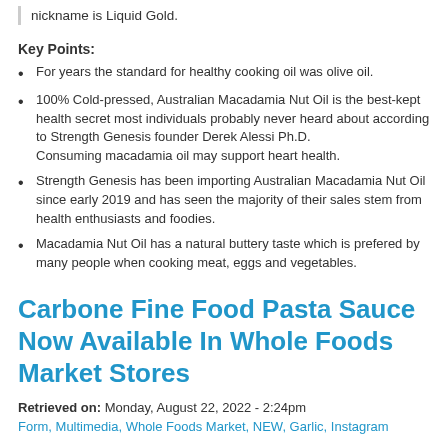nickname is Liquid Gold.
Key Points:
For years the standard for healthy cooking oil was olive oil.
100% Cold-pressed, Australian Macadamia Nut Oil is the best-kept health secret most individuals probably never heard about according to Strength Genesis founder Derek Alessi Ph.D.
Consuming macadamia oil may support heart health.
Strength Genesis has been importing Australian Macadamia Nut Oil since early 2019 and has seen the majority of their sales stem from health enthusiasts and foodies.
Macadamia Nut Oil has a natural buttery taste which is prefered by many people when cooking meat, eggs and vegetables.
Carbone Fine Food Pasta Sauce Now Available In Whole Foods Market Stores
Retrieved on: Monday, August 22, 2022 - 2:24pm
Form, Multimedia, Whole Foods Market, NEW, Garlic, Instagram